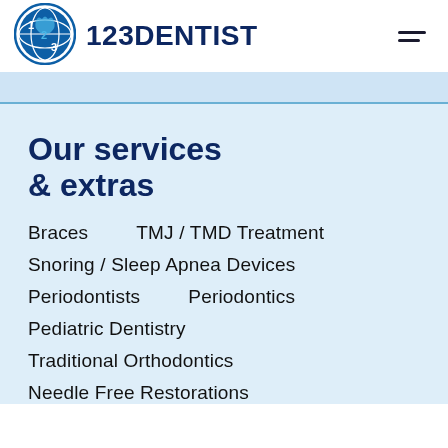[Figure (logo): 123Dentist logo — circular blue globe icon with tooth numbers, next to bold text '123DENTIST']
Our services & extras
Braces    TMJ / TMD Treatment
Snoring / Sleep Apnea Devices
Periodontists    Periodontics
Pediatric Dentistry
Traditional Orthodontics
Needle Free Restorations